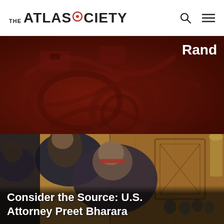THE ATLAS SOCIETY
[Figure (photo): Dark red/brown abstract decorative image with ornate relief-like shapes, partially showing the word 'Rand' in white text at top right]
[Figure (photo): Photo of two men at what appears to be a U.S. Senate hearing room with wooden paneled walls. One man is leaning over to speak to another man wearing red-framed glasses. A crowd of people is visible in the background.]
Consider the Source: U.S. Attorney Preet Bharara